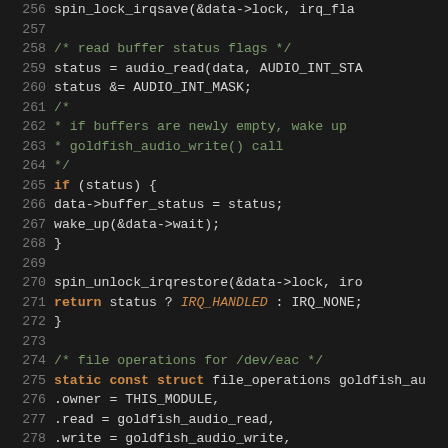[Figure (screenshot): Source code screenshot showing C code for goldfish audio driver, lines 256-286, dark theme editor with monospace font. Code includes IRQ handler, buffer status check, file_operations struct, and miscdevice struct definitions.]